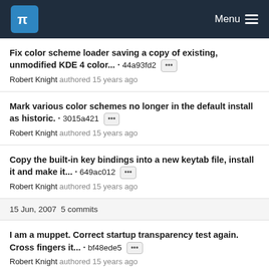KDE Menu
Fix color scheme loader saving a copy of existing, unmodified KDE 4 color... · 44a93fd2 ••• Robert Knight authored 15 years ago
Mark various color schemes no longer in the default install as historic. · 3015a421 ••• Robert Knight authored 15 years ago
Copy the built-in key bindings into a new keytab file, install it and make it... · 649ac012 ••• Robert Knight authored 15 years ago
15 Jun, 2007 5 commits
I am a muppet. Correct startup transparency test again. Cross fingers it... · bf48ede5 ••• Robert Knight authored 15 years ago
Move the Vt100 and XFree 3.xx keyboard layouts into /historic. They are still... · 77f003b1 •••